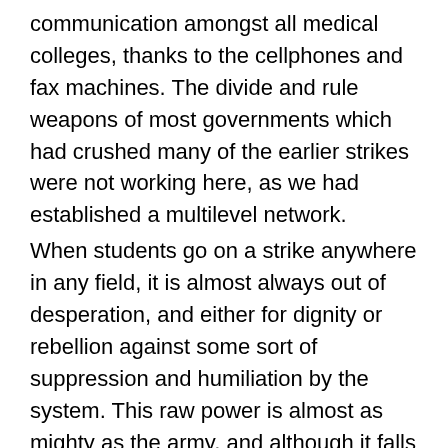communication amongst all medical colleges, thanks to the cellphones and fax machines. The divide and rule weapons of most governments which had crushed many of the earlier strikes were not working here, as we had established a multilevel network. When students go on a strike anywhere in any field, it is almost always out of desperation, and either for dignity or rebellion against some sort of suppression and humiliation by the system. This raw power is almost as mighty as the army, and although it falls prey to political misuse sometimes, it has tremendous capacity towards achieving intellectual evolution of the society. Students never rebel for money or power. The government always treats any unrest as an offence to its ego, and uses everything at its disposal: CID, Police, Administration, Force, Threats, Caste Politics, Cheating and Legal torture to mow down